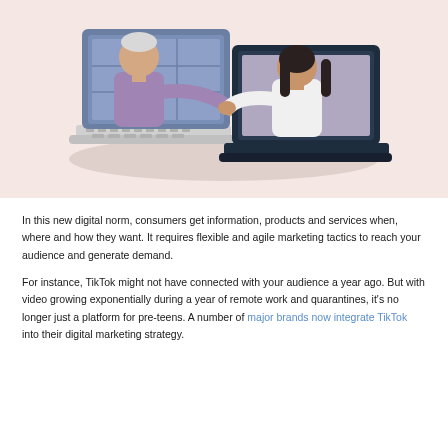[Figure (illustration): Two laptop computers facing each other on a round table. From the left laptop screen, a person with white/grey hair and a purple shirt reaches out a hand. From the right laptop screen, a person with long dark hair and a white shirt reaches out a hand toward the first person, as if shaking hands or connecting across screens. Background is a warm pinkish-beige color.]
In this new digital norm, consumers get information, products and services when, where and how they want. It requires flexible and agile marketing tactics to reach your audience and generate demand.
For instance, TikTok might not have connected with your audience a year ago. But with video growing exponentially during a year of remote work and quarantines, it's no longer just a platform for pre-teens. A number of major brands now integrate TikTok into their digital marketing strategy.